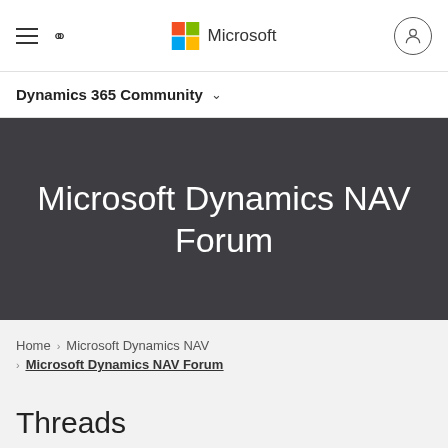Microsoft
Dynamics 365 Community
Microsoft Dynamics NAV Forum
Home › Microsoft Dynamics NAV › Microsoft Dynamics NAV Forum
Threads